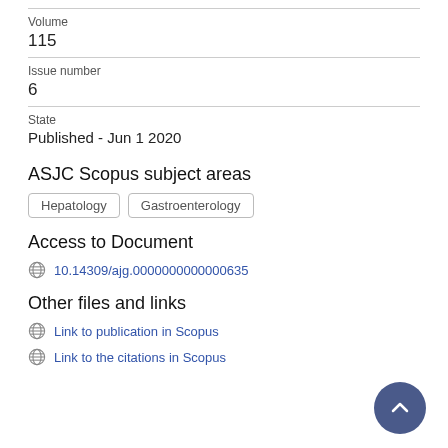Volume
115
Issue number
6
State
Published - Jun 1 2020
ASJC Scopus subject areas
Hepatology
Gastroenterology
Access to Document
10.14309/ajg.0000000000000635
Other files and links
Link to publication in Scopus
Link to the citations in Scopus